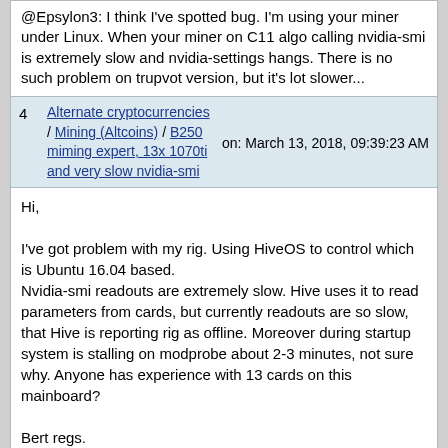@Epsylon3: I think I've spotted bug. I'm using your miner under Linux. When your miner on C11 algo calling nvidia-smi is extremely slow and nvidia-settings hangs. There is no such problem on trupvot version, but it's lot slower...
4   Alternate cryptocurrencies / Mining (Altcoins) / B250 miming expert, 13x 1070ti and very slow nvidia-smi   on: March 13, 2018, 09:39:23 AM
Hi,

I've got problem with my rig. Using HiveOS to control which is Ubuntu 16.04 based.
Nvidia-smi readouts are extremely slow. Hive uses it to read parameters from cards, but currently readouts are so slow, that Hive is reporting rig as offline. Moreover during startup system is stalling on modprobe about 2-3 minutes, not sure why. Anyone has experience with 13 cards on this mainboard?

Bert regs.
Alternate cryptocurrencies